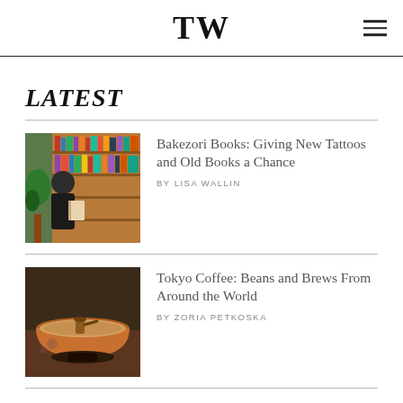TW
LATEST
[Figure (photo): Person standing in a cozy bookshop holding a book, shelves full of books in background, plants visible]
Bakezori Books: Giving New Tattoos and Old Books a Chance
BY LISA WALLIN
[Figure (photo): Close-up of a copper bowl filled with a light brown liquid, ornate coffee brewing vessel on a dark stand]
Tokyo Coffee: Beans and Brews From Around the World
BY ZORIA PETKOSKA
Chubu Weekender: Expect the